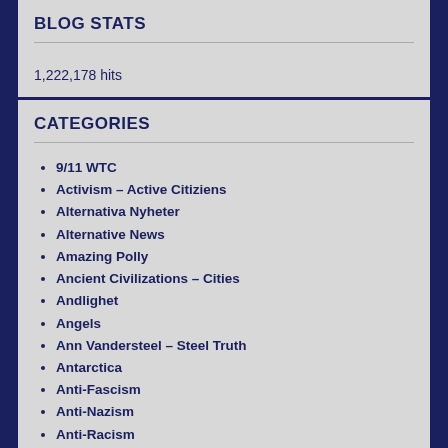BLOG STATS
1,222,178 hits
CATEGORIES
9/11 WTC
Activism – Active Citiziens
Alternativa Nyheter
Alternative News
Amazing Polly
Ancient Civilizations – Cities
Andlighet
Angels
Ann Vandersteel – Steel Truth
Antarctica
Anti-Fascism
Anti-Nazism
Anti-Racism
Ascension – What is it?
Avslöjanden
Änglar
Ö…